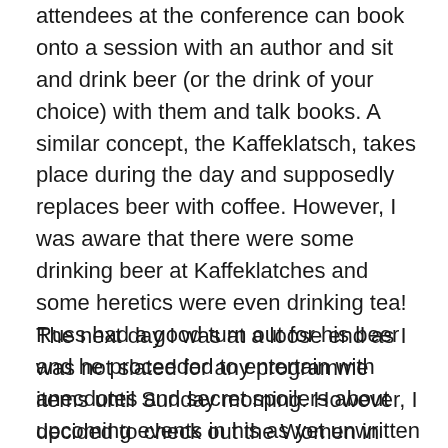attendees at the conference can book onto a session with an author and sit and drink beer (or the drink of your choice) with them and talk books. A similar concept, the Kaffeklatsch, takes place during the day and supposedly replaces beer with coffee. However, I was aware that there were some drinking beer at Kaffeklatches and some heretics were even drinking tea! Russ had a good turn out for his beer and he proceeded to entertain with anecdotes and secret spoilers about upcoming events in his as yet unwritten book 3 of the Grenshall Manor series. He also performed an adequate re-enactment of a turret in the very obscure computer game Beachhead…
The next day I was at a loose end as I was not slated for any programme items until Sunday morning. However, I decided to check out the Women in Star Wars panel which